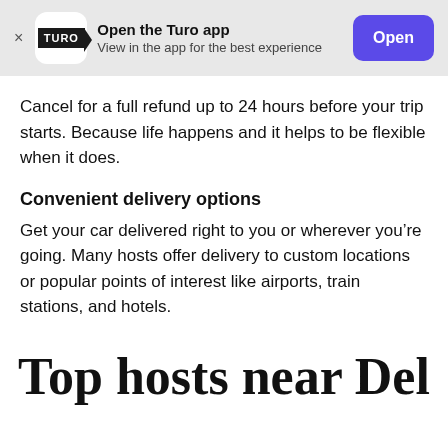[Figure (screenshot): Turo app banner with logo, 'Open the Turo app' text, 'View in the app for the best experience' subtitle, and a purple 'Open' button]
Cancel for a full refund up to 24 hours before your trip starts. Because life happens and it helps to be flexible when it does.
Convenient delivery options
Get your car delivered right to you or wherever you’re going. Many hosts offer delivery to custom locations or popular points of interest like airports, train stations, and hotels.
Top hosts near Del